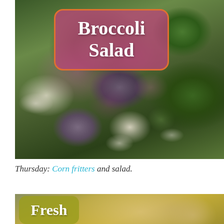[Figure (photo): Close-up photo of broccoli salad with cream dressing and mixed vegetables, with a pink/magenta rounded rectangle overlay containing the text 'Broccoli Salad' in white, bordered by orange]
Thursday: Corn fritters and salad.
[Figure (photo): Partial photo of a dish with a yellow/olive-green rounded rectangle overlay containing the text 'Fresh' in white]